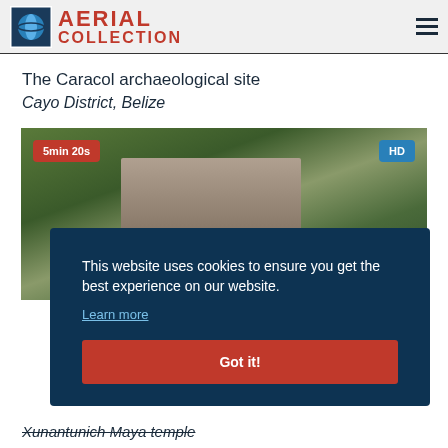AERIAL COLLECTION
The Caracol archaeological site
Cayo District, Belize
[Figure (photo): Aerial photograph of Caracol Maya ruins surrounded by jungle canopy in Belize, with duration badge '5min 20s' and 'HD' quality badge]
This website uses cookies to ensure you get the best experience on our website.
Learn more
Got it!
Xunantunich Maya temple